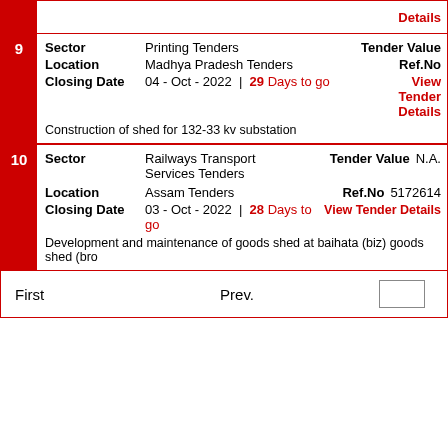| 9 | Sector | Printing Tenders | Tender Value |  |
|  | Location | Madhya Pradesh Tenders | Ref.No |  |
|  | Closing Date | 04 - Oct - 2022 | 29 Days to go | View Tender Details |  |
|  | Construction of shed for 132-33 kv substation |  |  |  |
| 10 | Sector | Railways Transport Services Tenders | Tender Value | N.A. |
|  | Location | Assam Tenders | Ref.No | 5172614 |
|  | Closing Date | 03 - Oct - 2022 | 28 Days to go | View Tender Details |  |
|  | Development and maintenance of goods shed at baihata (biz) goods shed (bro |  |  |  |
First   Prev.